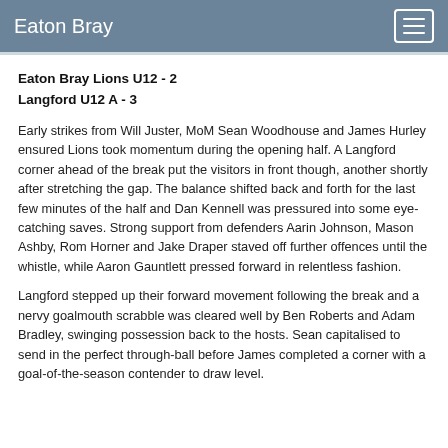Eaton Bray
Eaton Bray Lions U12 - 2
Langford U12 A - 3
Early strikes from Will Juster, MoM Sean Woodhouse and James Hurley ensured Lions took momentum during the opening half. A Langford corner ahead of the break put the visitors in front though, another shortly after stretching the gap. The balance shifted back and forth for the last few minutes of the half and Dan Kennell was pressured into some eye-catching saves. Strong support from defenders Aarin Johnson, Mason Ashby, Rom Horner and Jake Draper staved off further offences until the whistle, while Aaron Gauntlett pressed forward in relentless fashion.
Langford stepped up their forward movement following the break and a nervy goalmouth scrabble was cleared well by Ben Roberts and Adam Bradley, swinging possession back to the hosts. Sean capitalised to send in the perfect through-ball before James completed a corner with a goal-of-the-season contender to draw level.